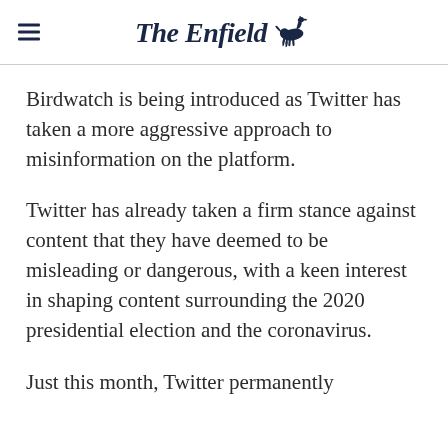The Enfield
Birdwatch is being introduced as Twitter has taken a more aggressive approach to misinformation on the platform.
Twitter has already taken a firm stance against content that they have deemed to be misleading or dangerous, with a keen interest in shaping content surrounding the 2020 presidential election and the coronavirus.
Just this month, Twitter permanently